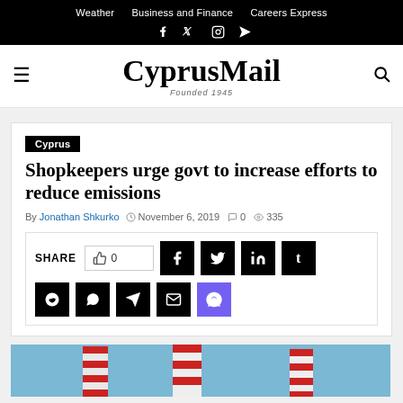Weather  Business and Finance  Careers Express
CyprusMail — Founded 1945
Cyprus
Shopkeepers urge govt to increase efforts to reduce emissions
By Jonathan Shkurko  November 6, 2019  0  335
SHARE  0  (social share buttons: Facebook, Twitter, LinkedIn, Tumblr, Reddit, WhatsApp, Telegram, Email, Viber)
[Figure (photo): Red and white striped industrial smokestacks against a blue sky]